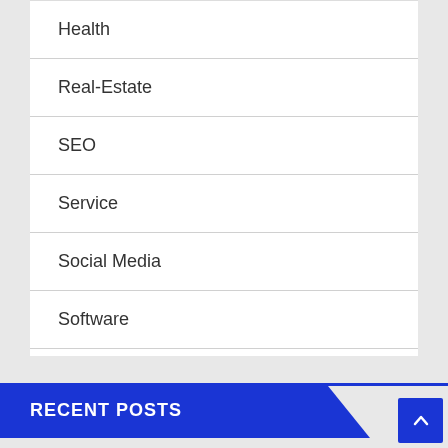Health
Real-Estate
SEO
Service
Social Media
Software
RECENT POSTS